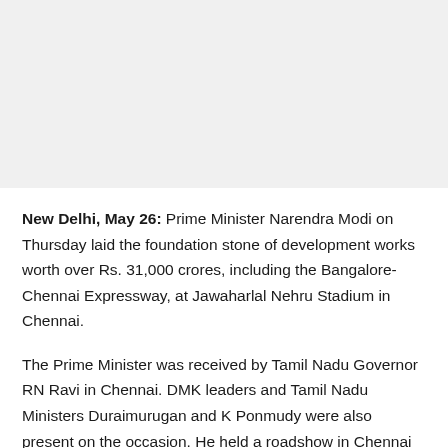New Delhi, May 26: Prime Minister Narendra Modi on Thursday laid the foundation stone of development works worth over Rs. 31,000 crores, including the Bangalore-Chennai Expressway, at Jawaharlal Nehru Stadium in Chennai.
The Prime Minister was received by Tamil Nadu Governor RN Ravi in Chennai. DMK leaders and Tamil Nadu Ministers Duraimurugan and K Ponmudy were also present on the occasion. He held a roadshow in Chennai upon his arrival in the capital city of Tamil